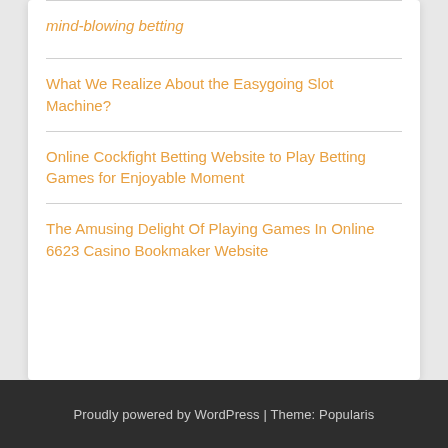Mind-Blowing Betting
What We Realize About the Easygoing Slot Machine?
Online Cockfight Betting Website to Play Betting Games for Enjoyable Moment
The Amusing Delight Of Playing Games In Online 6623 Casino Bookmaker Website
Proudly powered by WordPress | Theme: Popularis